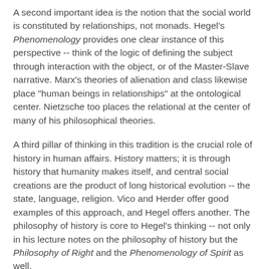A second important idea is the notion that the social world is constituted by relationships, not monads. Hegel's Phenomenology provides one clear instance of this perspective -- think of the logic of defining the subject through interaction with the object, or of the Master-Slave narrative. Marx's theories of alienation and class likewise place "human beings in relationships" at the ontological center. Nietzsche too places the relational at the center of many of his philosophical theories.
A third pillar of thinking in this tradition is the crucial role of history in human affairs. History matters; it is through history that humanity makes itself, and central social creations are the product of long historical evolution -- the state, language, religion. Vico and Herder offer good examples of this approach, and Hegel offers another. The philosophy of history is core to Hegel's thinking -- not only in his lecture notes on the philosophy of history but the Philosophy of Right and the Phenomenology of Spirit as well.
A fourth important theme in CPS is the idea of knowledge through criticism. Feuerbach's transformative criticism is a